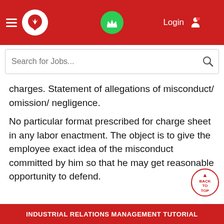[Figure (screenshot): Red navigation bar with hamburger menu, circular logo, centered green crown icon, Login text, and bell icon]
[Figure (screenshot): Search bar with placeholder text 'Search for Jobs...' and a search icon on the right]
charges. Statement of allegations of misconduct/ omission/ negligence.
No particular format prescribed for charge sheet in any labor enactment. The object is to give the employee exact idea of the misconduct committed by him so that he may get reasonable opportunity to defend.
INDUSTRIAL RELATIONS MANAGEMENT TUTORIAL